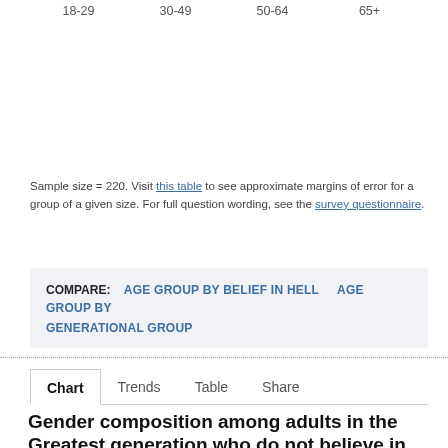18-29    30-49    50-64    65+
Sample size = 220. Visit this table to see approximate margins of error for a group of a given size. For full question wording, see the survey questionnaire.
COMPARE:  AGE GROUP BY BELIEF IN HELL   AGE GROUP BY GENERATIONAL GROUP
Chart  Trends  Table  Share
Gender composition among adults in the Greatest generation who do not believe in Hell
% of adults in the Greatest generation who do not believe in Hell who are...